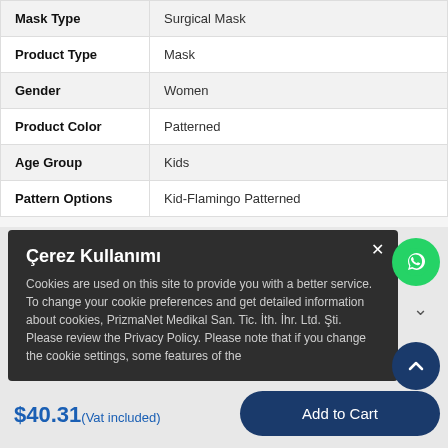| Property | Value |
| --- | --- |
| Mask Type | Surgical Mask |
| Product Type | Mask |
| Gender | Women |
| Product Color | Patterned |
| Age Group | Kids |
| Pattern Options | Kid-Flamingo Patterned |
Çerez Kullanımı
Cookies are used on this site to provide you with a better service. To change your cookie preferences and get detailed information about cookies, PrizmaNet Medikal San. Tic. İth. İhr. Ltd. Şti. Please review the Privacy Policy. Please note that if you change the cookie settings, some features of the
$40.31(Vat included)
Add to Cart